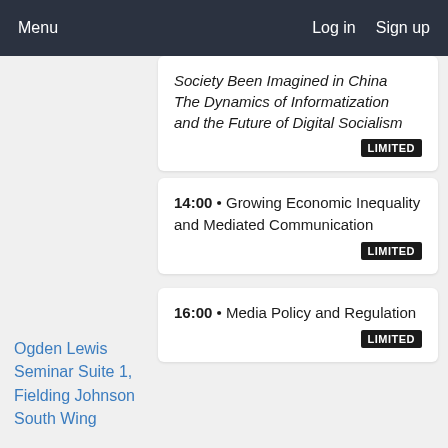Menu   Log in   Sign up
Society Been Imagined in China The Dynamics of Informatization and the Future of Digital Socialism LIMITED
14:00 • Growing Economic Inequality and Mediated Communication LIMITED
16:00 • Media Policy and Regulation LIMITED
Ogden Lewis Seminar Suite 1, Fielding Johnson South Wing